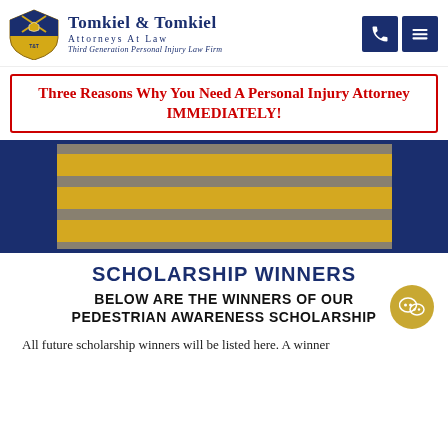[Figure (logo): Tomkiel & Tomkiel Attorneys At Law logo with shield emblem and navigation icons]
Three Reasons Why You Need A Personal Injury Attorney IMMEDIATELY!
[Figure (photo): Close-up photo of a yellow and grey pedestrian crosswalk on asphalt, framed by dark blue borders]
SCHOLARSHIP WINNERS
BELOW ARE THE WINNERS OF OUR PEDESTRIAN AWARENESS SCHOLARSHIP
All future scholarship winners will be listed here. A winner